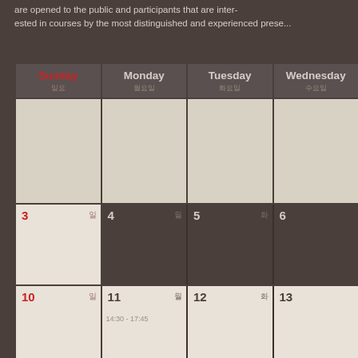are opened to the public and participants that are interested in courses by the most distinguished and experienced presenters
| Sunday 일요 | Monday 월요일 | Tuesday 화요일 | Wednesday 수요일 |
| --- | --- | --- | --- |
|  |  |  |  |
| 3 일 | 4 월 | 5 화 | 6 수 |
| 10 일 | 11 월
14:30 - 17:45 | 12 화 | 13 수 |